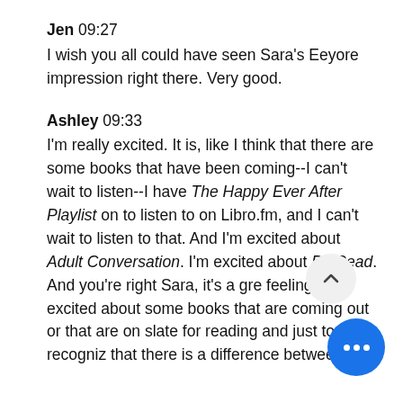Jen 09:27
I wish you all could have seen Sara's Eeyore impression right there. Very good.
Ashley 09:33
I'm really excited. It is, like I think that there are some books that have been coming--I can't wait to listen--I have The Happy Ever After Playlist on to listen to on Libro.fm, and I can't wait to listen to that. And I'm excited about Adult Conversation. I'm excited about Be Read. And you're right Sara, it's a great feeling to be excited about some books that are coming out or that are on slate for reading and just to recognize that there is a difference between...